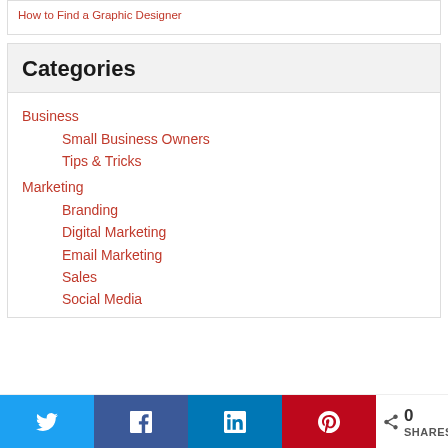How to Find a Graphic Designer
Categories
Business
Small Business Owners
Tips & Tricks
Marketing
Branding
Digital Marketing
Email Marketing
Sales
Social Media
0 SHARES